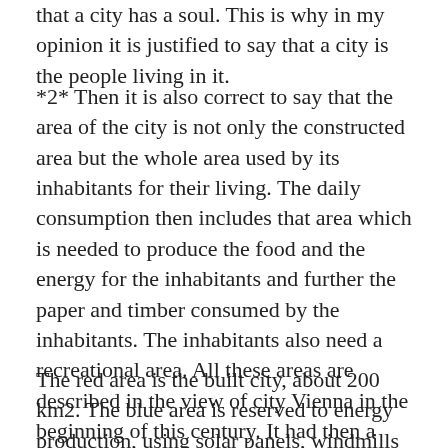that a city has a soul. This is why in my opinion it is justified to say that a city is the people living in it.
*2* Then it is also correct to say that the area of the city is not only the constructed area but the whole area used by its inhabitants for their living. The daily consumption then includes that area which is needed to produce the food and the energy for the inhabitants and further the paper and timber consumed by the inhabitants. The inhabitants also need a recreational area. All these areas are described in the view of city Vienna in the beginning of this century. It had then a population of approximately 2 million people.
The red area is the built city, about 200 km2. The blue area is reserved to energy production, using solar panels, windmills and geothermal energy, and its area is about 300 km2. The yellow area is agriculture, 2500